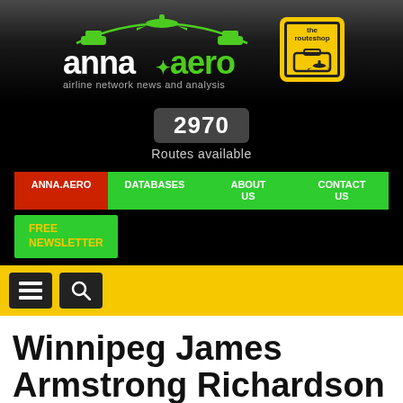[Figure (logo): anna.aero airline network news and analysis logo with airplane graphic, and 'the routeshop' yellow square logo]
2970
Routes available
ANNA.AERO | DATABASES | ABOUT US | CONTACT US
FREE NEWSLETTER
Winnipeg James Armstrong Richardson International Airport (YWG/CYWG)
Printable Version